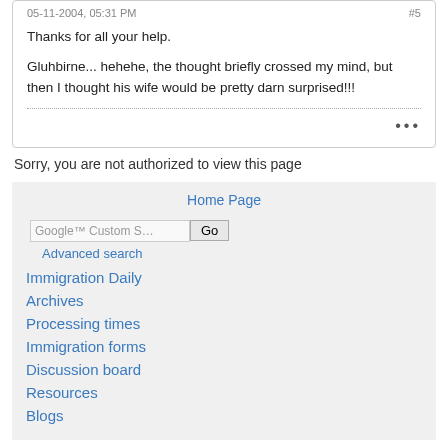05-11-2004, 05:31 PM   #5
Thanks for all your help.
Gluhbirne... hehehe, the thought briefly crossed my mind, but then I thought his wife would be pretty darn surprised!!!
Sorry, you are not authorized to view this page
Home Page
Advanced search
Immigration Daily
Archives
Processing times
Immigration forms
Discussion board
Resources
Blogs